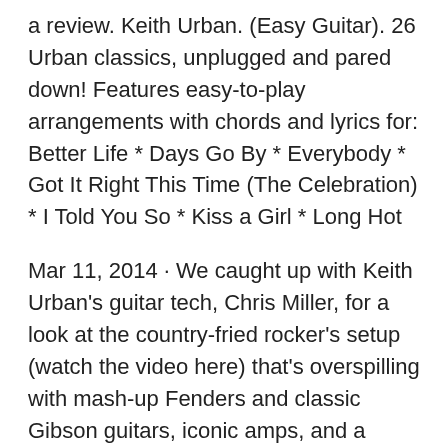a review. Keith Urban. (Easy Guitar). 26 Urban classics, unplugged and pared down! Features easy-to-play arrangements with chords and lyrics for: Better Life * Days Go By * Everybody * Got It Right This Time (The Celebration) * I Told You So * Kiss a Girl * Long Hot
Mar 11, 2014 · We caught up with Keith Urban's guitar tech, Chris Miller, for a look at the country-fried rocker's setup (watch the video here) that's overspilling with mash-up Fenders and classic Gibson guitars, iconic amps, and a condensed pedalboard (see his 2011 ... Aside from being "signature brand" instruments, Keith Urban Guitars also possess excellent qualities. When it comes to application, we can say that these